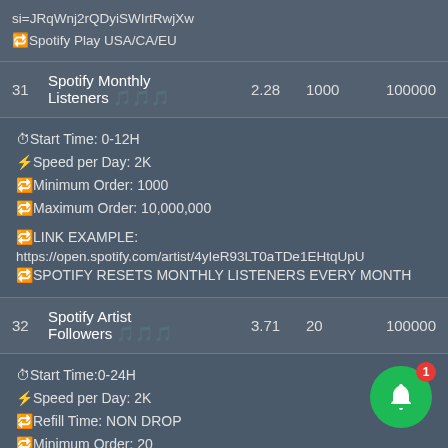si=JRqWnj2rQDyiSWIrtRwjXw
🔁Spotify Play USA/CA/EU
| # | Name | Price | Min | Max |
| --- | --- | --- | --- | --- |
| 31 | Spotify Monthly Listeners 🎵🎵🎵 | 2.28 | 1000 | 100000 |
⏱Start Time: 0-12H
⚡Speed per Day: 2K
🔁Minimum Order: 1000
🔁Maximum Order: 10,000,000
🔁LINK EXAMPLE:
https://open.spotify.com/artist/4yIeR93LT0aTDe1EHtqUpU
🔁SPOTIFY RESETS MONTHLY LISTENERS EVERY MONTH
| # | Name | Price | Min | Max |
| --- | --- | --- | --- | --- |
| 32 | Spotify Artist Followers 🎵🎵🎵 | 3.71 | 20 | 100000 |
⏱Start Time:0-24H
⚡Speed per Day: 2K
🔁Refill Time: NON DROP
🔁Minimum Order: 20
🔁Maximum Order: 100,000